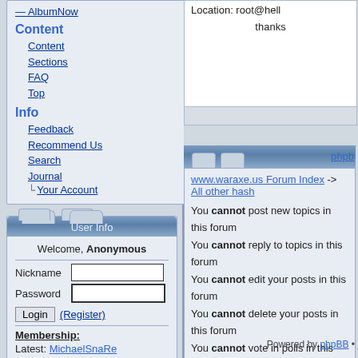AlbumNow
Content
Content
Sections
FAQ
Top
Info
Feedback
Recommend Us
Search
Journal
Your Account
Location: root@hell

thanks
User Info
Welcome, Anonymous
Nickname [input] Password [input] Login (Register)
Membership:
Latest: MichaelSnaRe
New Today: 0
New Yesterday: 0
Overall: 9145
People Online:
Visitors: 200
www.waraxe.us Forum Index -> All other hash
You cannot post new topics in this forum
You cannot reply to topics in this forum
You cannot edit your posts in this forum
You cannot delete your posts in this forum
You cannot vote in polls in this forum
All Posts [dropdown] Oldest First [dropdown] Go
phpb...
Powered by phpBB •